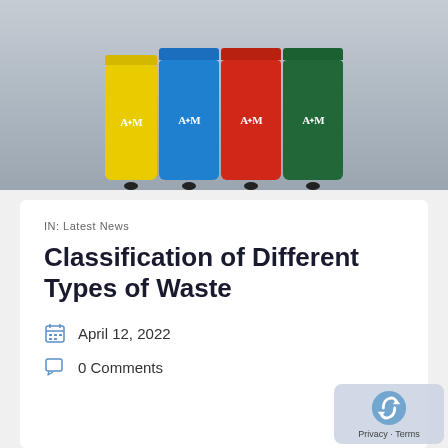[Figure (photo): Four colored recycling bins (yellow, blue, red, green) lined up against a gray wall, each with an A&M logo on the front]
IN: Latest News
Classification of Different Types of Waste
April 12, 2022
0 Comments